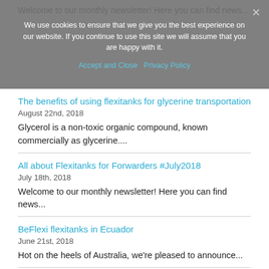Welcome to our monthly newsletter! Here you can find news...
We use cookies to ensure that we give you the best experience on our website. If you continue to use this site we will assume that you are happy with it.
Accept and Close   Privacy Policy
The benefits of using flexitanks for glycerine transportation
August 22nd, 2018
Glycerol is a non-toxic organic compound, known commercially as glycerine....
All about Flexitanks for Forwarders #July2018
July 18th, 2018
Welcome to our monthly newsletter! Here you can find news...
BeFlexi flexitanks in Ecuador
June 21st, 2018
Hot on the heels of Australia, we're pleased to announce...